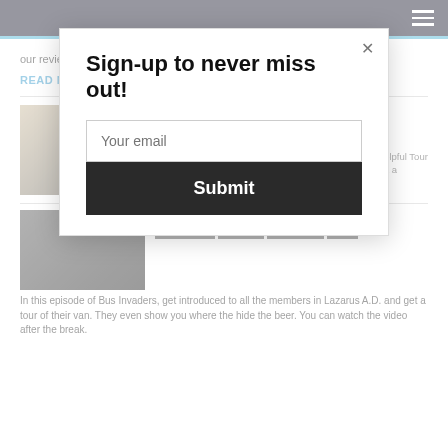Navigation header with hamburger menu
our review of the tour after the break..
READ MORE ▶
Gypsyhawk – TOUR TIPS (Part 1)
FEATURES / GYPSYHAWK / METAL / TOUR TIPS
SEPTEMBER 23, 2013
Heavy metal band, Gypsyhawk, have written a set of helpful Tour Tips for you guys to learn from. You can check them out a
READ MORE ▶
Lazarus A.D. – BUS INVADERS Ep. 213
BUS INVADERS / FEATURES / LAZARUS A.D. / METAL
In this episode of Bus Invaders, get introduced to all the members in Lazarus A.D. and get a tour of their van. They even show you where the hide the beer. You can watch the video after the break.
Sign-up to never miss out!
Your email
Submit